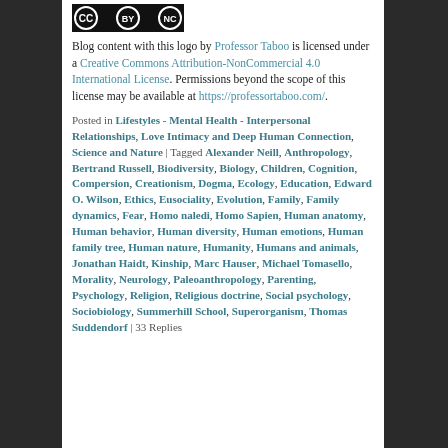[Figure (logo): Creative Commons BY NC license logo badge, black background with CC, BY, NC symbols]
Blog content with this logo by Professor Taboo is licensed under a Creative Commons Attribution-NonCommercial 4.0 International License. Permissions beyond the scope of this license may be available at https://professortaboo.com/.
Posted in Lifestyles - Mental Health - Interpersonal Relationships, Love Intimacy and Deep Human Connection, Science and Nature | Tagged Alexander Neill, Anthropology, Bertrand Russell, Biodiversity, Biology, Children, Cognition, Compersion, Creationism, Dogma, Ecology, Education, Edward O. Wilson, Ethics, Eusociality, Evolution, Family, Family dynamics, Fear, Homo naledi, Homo Sapien, Human anatomy, Human behavior, Human diversity, Human emotions, Human family tree, Human nature, Humanity, Humans and animals, Jonathan Haidt, Kinship, Marc Hauser, Michael Tomasello, Morality, Neurology, Paleoanthropology, Parenting, Psychology, Religion, Religious doctrine, Social psychology, Sociobiology, Summerhill School, Superorganism, Thomas Suddendorf | 33 Replies